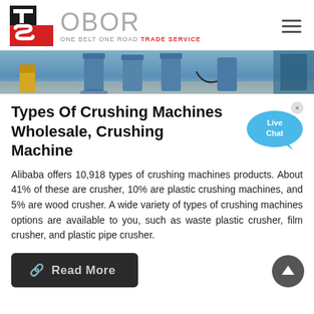[Figure (logo): OBOR Trade Service logo with TS emblem in red/black and gray OBOR text]
[Figure (photo): Industrial crushing machine equipment photo showing blue machinery columns on factory floor]
Types Of Crushing Machines Wholesale, Crushing Machine
Alibaba offers 10,918 types of crushing machines products. About 41% of these are crusher, 10% are plastic crushing machines, and 5% are wood crusher. A wide variety of types of crushing machines options are available to you, such as waste plastic crusher, film crusher, and plastic pipe crusher.
[Figure (illustration): Live Chat speech bubble button in blue]
Read More